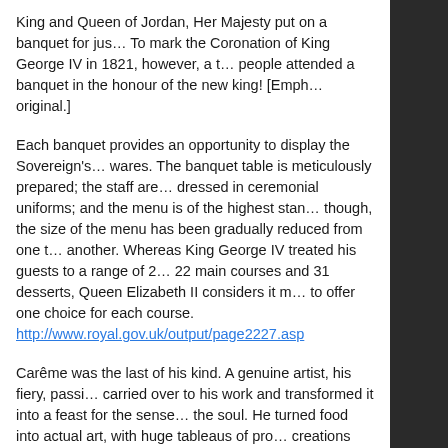King and Queen of Jordan, Her Majesty put on a banquet for jus… To mark the Coronation of King George IV in 1821, however, a total… people attended a banquet in the honour of the new king! [Emph… original.]
Each banquet provides an opportunity to display the Sovereign's… wares. The banquet table is meticulously prepared; the staff are… dressed in ceremonial uniforms; and the menu is of the highest stand… though, the size of the menu has been gradually reduced from one… another. Whereas King George IV treated his guests to a range of 2… 22 main courses and 31 desserts, Queen Elizabeth II considers it m… to offer one choice for each course.
http://www.royal.gov.uk/output/page2227.asp
Carême was the last of his kind. A genuine artist, his fiery, passion… carried over to his work and transformed it into a feast for the sense… the soul. He turned food into actual art, with huge tableaus of prodi… creations and food made out of gold. Literally! No other chef has eve… to the scale, complexity and inventiveness of his creations. And no o… embodies the glittering brilliance of the golden age of kings as Car…